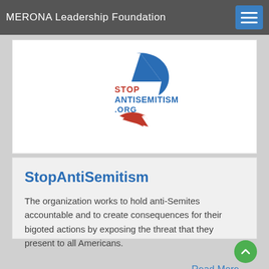MERONA Leadership Foundation
[Figure (logo): StopAntisemitism.org logo with blue star of David shape and red arrow]
StopAntiSemitism
The organization works to hold anti-Semites accountable and to create consequences for their bigoted actions by exposing the threat that they present to all Americans.
Read More..